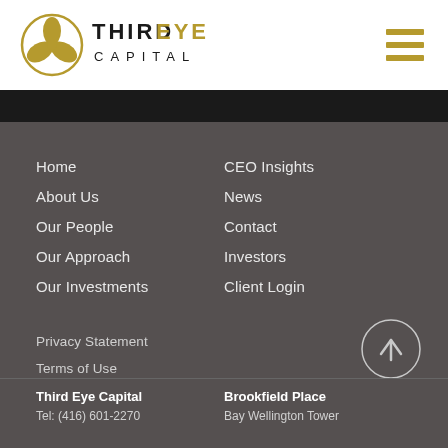[Figure (logo): Third Eye Capital logo with golden circular emblem and text THIRD EYE CAPITAL]
[Figure (other): Hamburger menu icon with three horizontal gold bars]
Home
About Us
Our People
Our Approach
Our Investments
CEO Insights
News
Contact
Investors
Client Login
Privacy Statement
Terms of Use
Third Eye Capital
Tel: (416) 601-2270
Brookfield Place
Bay Wellington Tower